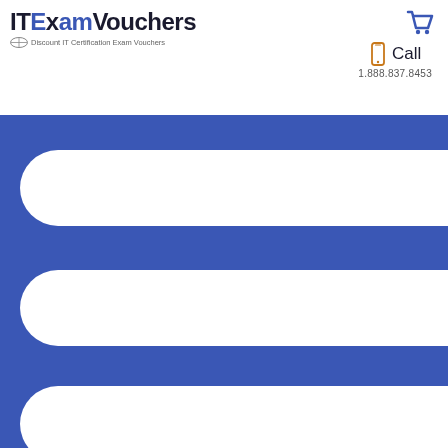ITExamVouchers - Discount IT Certification Exam Vouchers
Call 1.888.837.8453
[Figure (illustration): Blue banner with three white rounded pill/capsule shapes arranged vertically, serving as navigation or search input fields]
Shop by company
CompTIA
Cisco
Microsoft